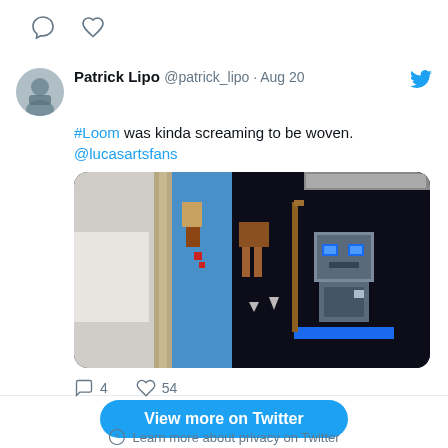[Figure (screenshot): Twitter/X UI top strip with reply and like icons (no counts)]
Patrick Lipo @patrick_lipo · Aug 20
#Loom was kinda screaming to be woven. @lucasartsfans
[Figure (photo): Photo of woven pixel-art tapestries depicting video game characters on dark background]
4   54
View more on Twitter
Learn more about privacy on Twitter